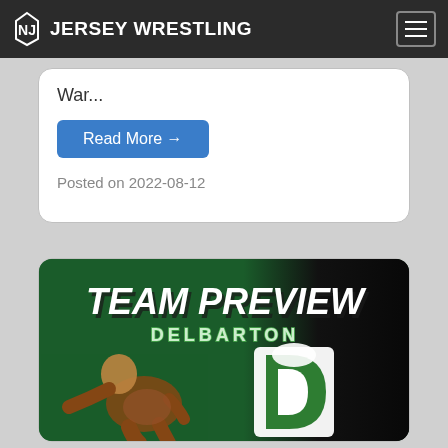JERSEY WRESTLING
War...
Read More →
Posted on 2022-08-12
[Figure (photo): Team Preview Delbarton promotional image showing a wrestler in action with the Delbarton 'D' logo on a green and black background]